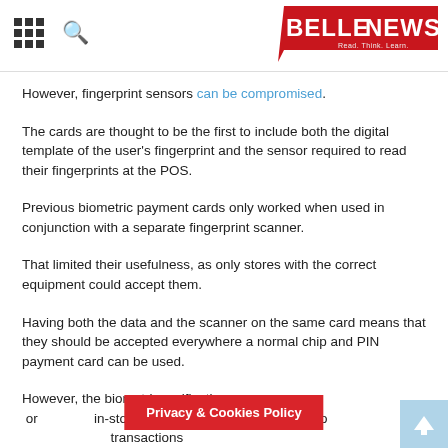BELLE NEWS
However, fingerprint sensors can be compromised.
The cards are thought to be the first to include both the digital template of the user's fingerprint and the sensor required to read their fingerprints at the POS.
Previous biometric payment cards only worked when used in conjunction with a separate fingerprint scanner.
That limited their usefulness, as only stores with the correct equipment could accept them.
Having both the data and the scanner on the same card means that they should be accepted everywhere a normal chip and PIN payment card can be used.
However, the biometric verification would only be used for in-store purchases: online and other so... transactions